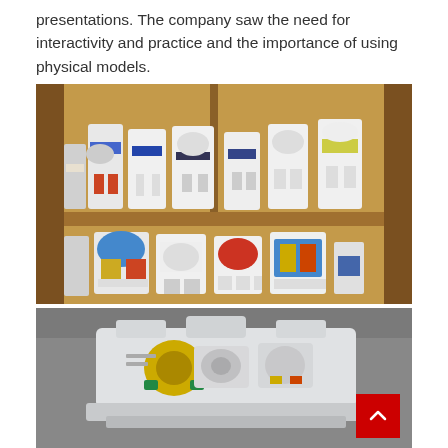presentations. The company saw the need for interactivity and practice and the importance of using physical models.
[Figure (photo): A wooden bookshelf displaying multiple physical cross-section models of valves and mechanical components, arranged on two shelves. The models are white and colorful, showing internal mechanisms.]
[Figure (photo): Close-up photograph of a mechanical valve or pump model showing internal components including yellow and green parts, viewed from the front.]